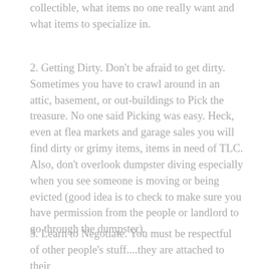collectible, what items no one really want and what items to specialize in.
2. Getting Dirty. Don't be afraid to get dirty. Sometimes you have to crawl around in an attic, basement, or out-buildings to Pick the treasure. No one said Picking was easy. Heck, even at flea markets and garage sales you will find dirty or grimy items, items in need of TLC. Also, don't overlook dumpster diving especially when you see someone is moving or being evicted (good idea is to check to make sure you have permission from the people or landlord to go through the dumpster).
3. Learn to Negotiate. You must be respectful of other people's stuff....they are attached to their